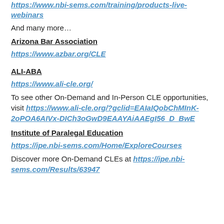https://www.nbi-sems.com/training/products-live-webinars
And many more…
Arizona Bar Association
https://www.azbar.org/CLE
ALI-ABA
https://www.ali-cle.org/
To see other On-Demand and In-Person CLE opportunities, visit https://www.ali-cle.org/?gclid=EAIaIQobChMInK-2oPOA6AIVx-DICh3oGwD9EAAYAiAAEgI56_D_BwE
Institute of Paralegal Education
https://ipe.nbi-sems.com/Home/ExploreCourses
Discover more On-Demand CLEs at https://ipe.nbi-sems.com/Results/63947